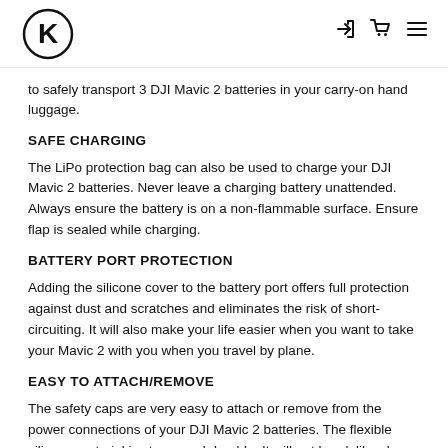Knack logo with navigation icons (login, cart, menu)
to safely transport 3 DJI Mavic 2 batteries in your carry-on hand luggage.
SAFE CHARGING
The LiPo protection bag can also be used to charge your DJI Mavic 2 batteries. Never leave a charging battery unattended. Always ensure the battery is on a non-flammable surface. Ensure flap is sealed while charging.
BATTERY PORT PROTECTION
Adding the silicone cover to the battery port offers full protection against dust and scratches and eliminates the risk of short-circuiting. It will also make your life easier when you want to take your Mavic 2 with you when you travel by plane.
EASY TO ATTACH/REMOVE
The safety caps are very easy to attach or remove from the power connections of your DJI Mavic 2 batteries. The flexible silicone material is strong and durable. It will not break like cheap plastic covers would.